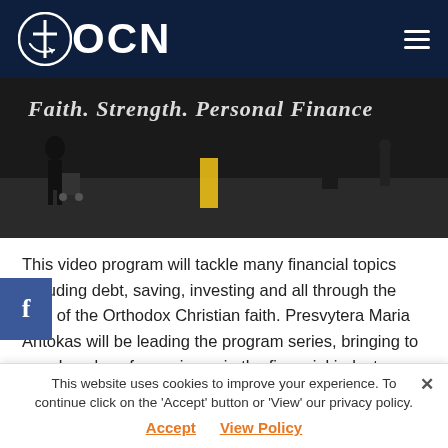OCN
[Figure (photo): Hero image showing people walking in a terminal/hallway with text overlay: Faith. Strength. Personal Finance]
This video program will tackle many financial topics including debt, saving, investing and all through the lens of the Orthodox Christian faith. Presvytera Maria Antokas will be leading the program series, bringing to you decades of experience in the financial industry as a banker, coach and author. Her experiential knowledge combined with her deep rooted faith will help us all work through difficult financial
This website uses cookies to improve your experience. To continue click on the 'Accept' button or 'View' our privacy policy. Accept  View Policy